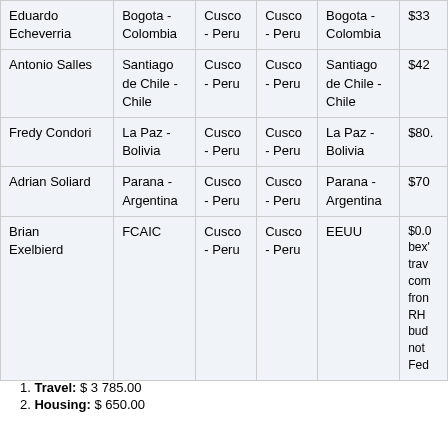| Name | Origin | Depart | Arrive | Return | Cost |
| --- | --- | --- | --- | --- | --- |
| Eduardo Echeverria | Bogota - Colombia | Cusco - Peru | Cusco - Peru | Bogota - Colombia | $33... |
| Antonio Salles | Santiago de Chile - Chile | Cusco - Peru | Cusco - Peru | Santiago de Chile - Chile | $42... |
| Fredy Condori | La Paz - Bolivia | Cusco - Peru | Cusco - Peru | La Paz - Bolivia | $80... |
| Adrian Soliard | Parana - Argentina | Cusco - Peru | Cusco - Peru | Parana - Argentina | $70... |
| Brian Exelbierd | FCAIC | Cusco - Peru | Cusco - Peru | EEUU | $0.0... bex' trav... com... from RH bud... not Fed... |
Travel: $ 3 785.00
Housing: $ 650.00